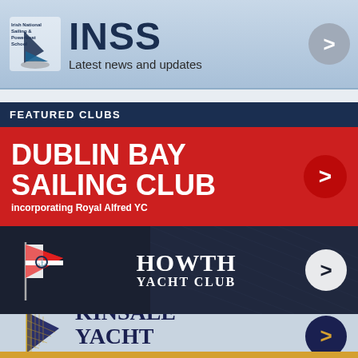[Figure (infographic): INSS (Irish National Sailing & Powerboat School) banner with logo, title 'INSS', subtitle 'Latest news and updates', and a gray circular arrow button]
FEATURED CLUBS
[Figure (infographic): Dublin Bay Sailing Club banner on red background with text 'DUBLIN BAY SAILING CLUB incorporating Royal Alfred YC' and a dark red circular arrow button]
[Figure (infographic): Howth Yacht Club banner on dark navy background with pennant flag, 'HOWTH YACHT CLUB' text, and white circular arrow button]
[Figure (infographic): Kinsale Yacht Club banner on light blue background with purple pennant flag, 'KINSALE YACHT CLUB' text partially shown, navy circular arrow button with gold arrow]